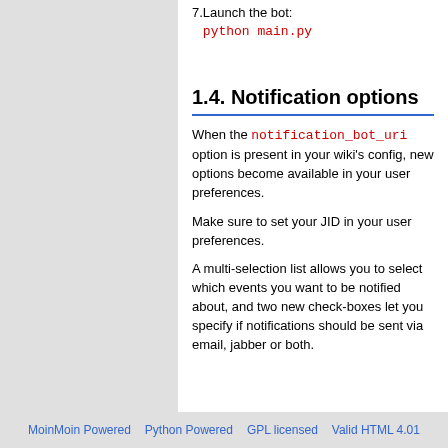7. Launch the bot: python main.py
1.4. Notification options
When the notification_bot_uri option is present in your wiki's config, new options become available in your user preferences.
Make sure to set your JID in your user preferences.
A multi-selection list allows you to select which events you want to be notified about, and two new check-boxes let you specify if notifications should be sent via email, jabber or both.
MoinMoin Powered   Python Powered   GPL licensed   Valid HTML 4.01